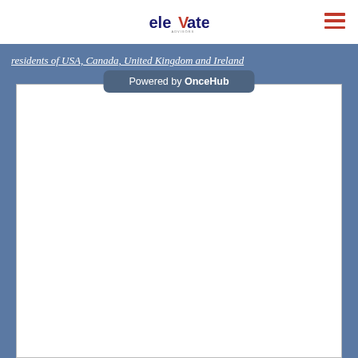[Figure (logo): Elevate logo with stylized text and red V]
Residents of USA, Canada, United Kingdom and Ireland
Powered by OnceHub